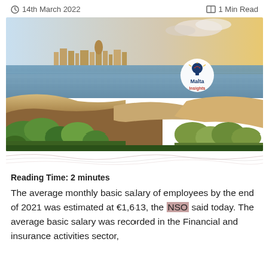14th March 2022   1 Min Read
[Figure (photo): Panoramic photo of Malta's coastline and skyline with a body of water in the foreground, rocky shore with green vegetation, sunset/dawn sky. Malta Insights logo overlaid.]
Reading Time: 2 minutes
The average monthly basic salary of employees by the end of 2021 was estimated at €1,613, the NSO said today. The average basic salary was recorded in the Financial and insurance activities sector,